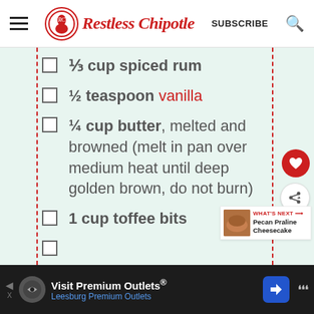Restless Chipotle
⅓ cup spiced rum
½ teaspoon vanilla
¼ cup butter, melted and browned (melt in pan over medium heat until deep golden brown, do not burn)
1 cup toffee bits
Visit Premium Outlets® Leesburg Premium Outlets